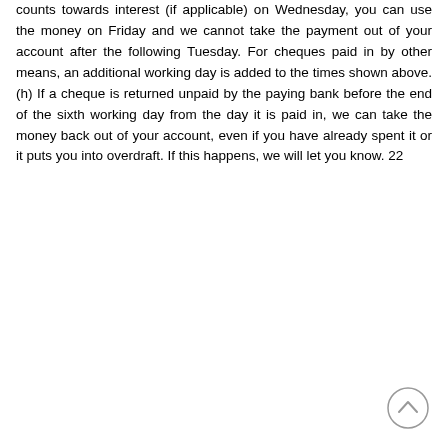counts towards interest (if applicable) on Wednesday, you can use the money on Friday and we cannot take the payment out of your account after the following Tuesday. For cheques paid in by other means, an additional working day is added to the times shown above. (h) If a cheque is returned unpaid by the paying bank before the end of the sixth working day from the day it is paid in, we can take the money back out of your account, even if you have already spent it or it puts you into overdraft. If this happens, we will let you know. 22